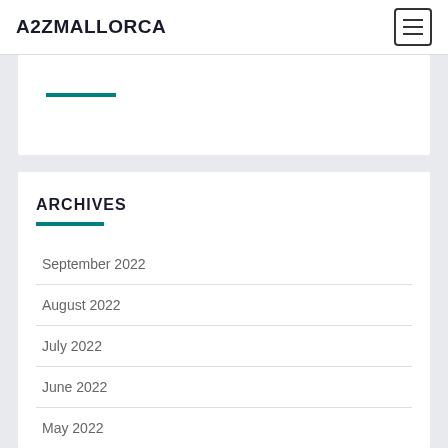A2ZMALLORCA
ARCHIVES
September 2022
August 2022
July 2022
June 2022
May 2022
April 2022